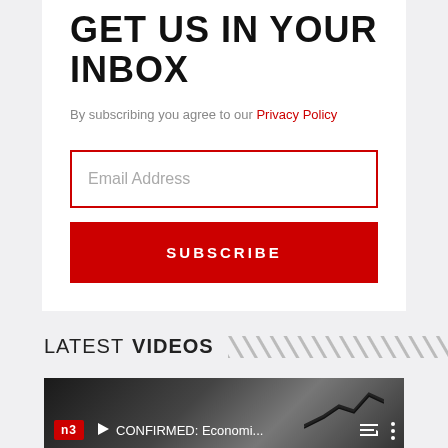GET US IN YOUR INBOX
By subscribing you agree to our Privacy Policy
Email Address
SUBSCRIBE
LATEST VIDEOS
[Figure (screenshot): Video thumbnail showing NB logo and text 'CONFIRMED: Economi...' with playlist and menu icons on dark background with chart imagery]